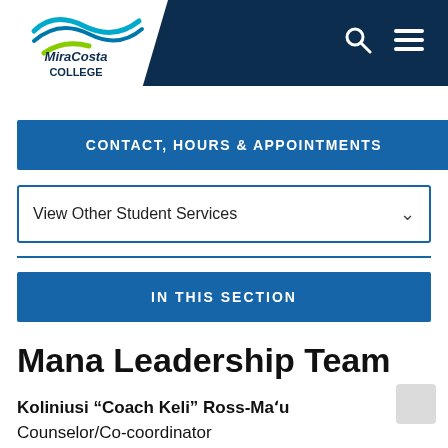MiraCosta College
CONTACT, HOURS & APPOINTMENTS
View Other Student Services
IN THIS SECTION
Mana Leadership Team
Koliniusi “Coach Keli” Ross-Ma’u
Counselor/Co-coordinator